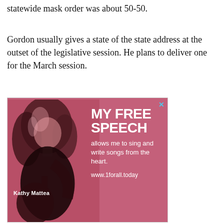statewide mask order was about 50-50.
Gordon usually gives a state of the state address at the outset of the legislative session. He plans to deliver one for the March session.
[Figure (photo): Advertisement featuring Kathy Mattea, a woman with long blonde hair holding a guitar, against a pink/red background with text 'MY FREE SPEECH allows me to sing and write songs from the heart. www.1forall.today']